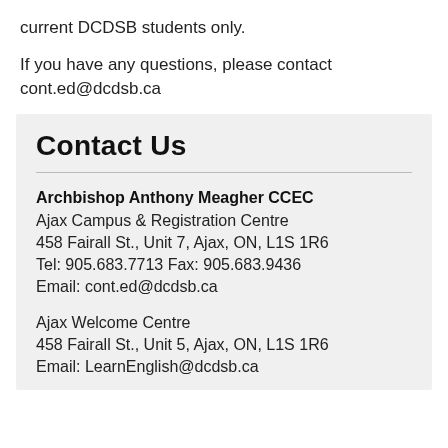current DCDSB students only.
If you have any questions, please contact cont.ed@dcdsb.ca
Contact Us
Archbishop Anthony Meagher CCEC
Ajax Campus & Registration Centre
458 Fairall St., Unit 7, Ajax, ON, L1S 1R6
Tel: 905.683.7713 Fax: 905.683.9436
Email: cont.ed@dcdsb.ca
Ajax Welcome Centre
458 Fairall St., Unit 5, Ajax, ON, L1S 1R6
Email: LearnEnglish@dcdsb.ca